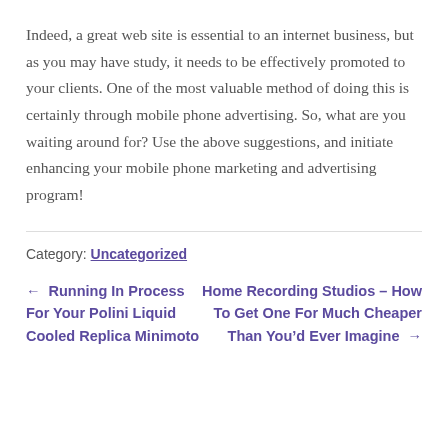Indeed, a great web site is essential to an internet business, but as you may have study, it needs to be effectively promoted to your clients. One of the most valuable method of doing this is certainly through mobile phone advertising. So, what are you waiting around for? Use the above suggestions, and initiate enhancing your mobile phone marketing and advertising program!
Category: Uncategorized
← Running In Process For Your Polini Liquid Cooled Replica Minimoto
Home Recording Studios – How To Get One For Much Cheaper Than You'd Ever Imagine →